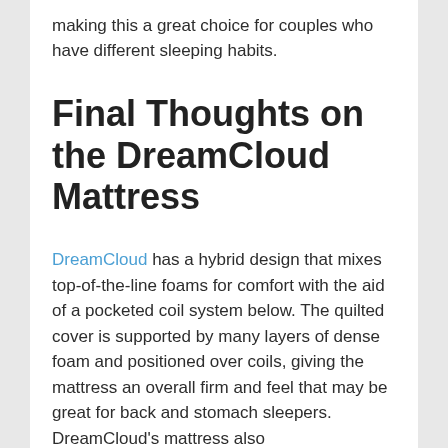making this a great choice for couples who have different sleeping habits.
Final Thoughts on the DreamCloud Mattress
DreamCloud has a hybrid design that mixes top-of-the-line foams for comfort with the aid of a pocketed coil system below. The quilted cover is supported by many layers of dense foam and positioned over coils, giving the mattress an overall firm and feel that may be great for back and stomach sleepers. DreamCloud's mattress also